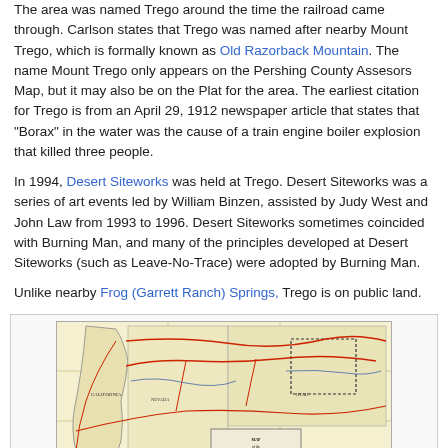The area was named Trego around the time the railroad came through. Carlson states that Trego was named after nearby Mount Trego, which is formally known as Old Razorback Mountain. The name Mount Trego only appears on the Pershing County Assesors Map, but it may also be on the Plat for the area. The earliest citation for Trego is from an April 29, 1912 newspaper article that states that "Borax" in the water was the cause of a train engine boiler explosion that killed three people.
In 1994, Desert Siteworks was held at Trego. Desert Siteworks was a series of art events led by William Binzen, assisted by Judy West and John Law from 1993 to 1996. Desert Siteworks sometimes coincided with Burning Man, and many of the principles developed at Desert Siteworks (such as Leave-No-Trace) were adopted by Burning Man.
Unlike nearby Frog (Garrett Ranch) Springs, Trego is on public land.
[Figure (map): A historical map of the Western Pacific and surrounding region, labeled 'Map of the Donner & Blizzard Western Pacific and Adjoining Lines', showing California, Nevada and adjacent states with railroad routes marked in red.]